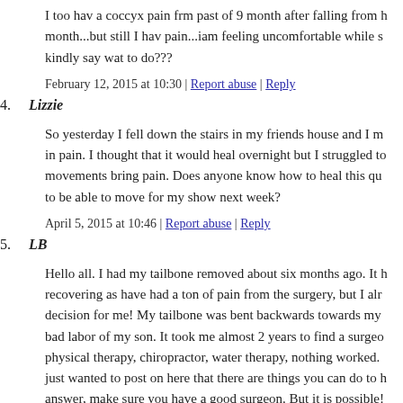I too hav a coccyx pain frm past of 9 month after falling from h month...but still I hav pain...iam feeling uncomfortable while s kindly say wat to do???
February 12, 2015 at 10:30 | Report abuse | Reply
4. Lizzie
So yesterday I fell down the stairs in my friends house and I m in pain. I thought that it would heal overnight but I struggled to movements bring pain. Does anyone know how to heal this qu to be able to move for my show next week?
April 5, 2015 at 10:46 | Report abuse | Reply
5. LB
Hello all. I had my tailbone removed about six months ago. It h recovering as have had a ton of pain from the surgery, but I alr decision for me! My tailbone was bent backwards towards my bad labor of my son. It took me almost 2 years to find a surgeo physical therapy, chiropractor, water therapy, nothing worked. just wanted to post on here that there are things you can do to h answer, make sure you have a good surgeon. But it is possible!
May 8, 2015 at 23:41 | Report abuse | Reply
Andy